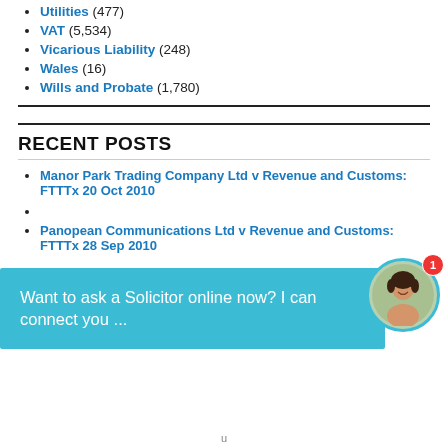Utilities (477)
VAT (5,534)
Vicarious Liability (248)
Wales (16)
Wills and Probate (1,780)
RECENT POSTS
Manor Park Trading Company Ltd v Revenue and Customs: FTTTx 20 Oct 2010
Panopean Communications Ltd v Revenue and Customs: FTTTx 28 Sep 2010
Want to ask a Solicitor online now? I can connect you ...
u